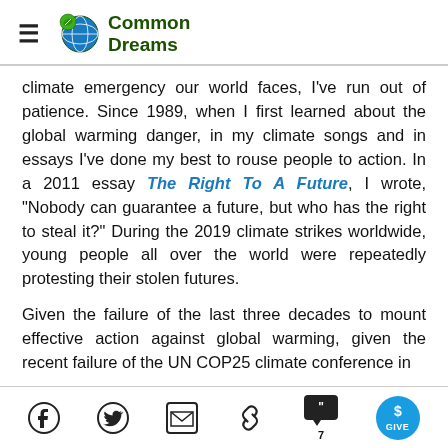Common Dreams
climate emergency our world faces, I've run out of patience. Since 1989, when I first learned about the global warming danger, in my climate songs and in essays I've done my best to rouse people to action. In a 2011 essay The Right To A Future, I wrote, "Nobody can guarantee a future, but who has the right to steal it?" During the 2019 climate strikes worldwide, young people all over the world were repeatedly protesting their stolen futures.
Given the failure of the last three decades to mount effective action against global warming, given the recent failure of the UN COP25 climate conference in
Social share icons: Facebook, Twitter, Email, Link, Comments (7), Give